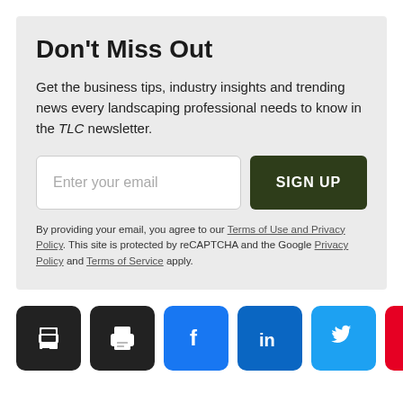Don't Miss Out
Get the business tips, industry insights and trending news every landscaping professional needs to know in the TLC newsletter.
Enter your email [input field] SIGN UP
By providing your email, you agree to our Terms of Use and Privacy Policy. This site is protected by reCAPTCHA and the Google Privacy Policy and Terms of Service apply.
[Figure (infographic): Row of 5 social share icon buttons: print (black), Facebook (blue), LinkedIn (dark blue), Twitter (light blue), Pinterest (red)]
Comments